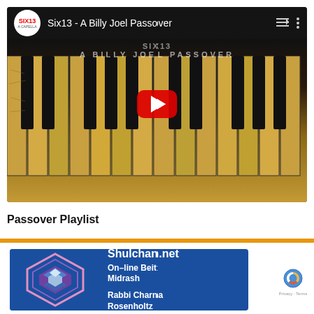[Figure (screenshot): YouTube video thumbnail for 'Six13 - A Billy Joel Passover' showing piano keys made of matzo bread, with YouTube play button overlay and channel logo]
Passover Playlist
[Figure (illustration): Shulchan.net advertisement banner with blue background, geometric logo, text: Shulchan.net On-line Beit Midrash, Rabbi Charna Rosenholtz. Also shows a reCAPTCHA badge.]